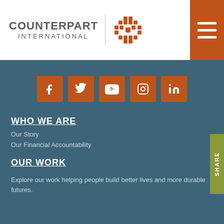[Figure (logo): Counterpart International logo with stylized woven circle icon in orange and grey text]
[Figure (other): Orange hamburger menu button with three white horizontal lines]
[Figure (other): Social media icons row: Facebook, Twitter, YouTube, Instagram, LinkedIn — all in orange square buttons]
[Figure (other): Vertical olive/green SHARE tab on right side]
WHO WE ARE
Our Story
Our Financial Accountability
OUR WORK
Explore our work helping people build better lives and more durable futures.